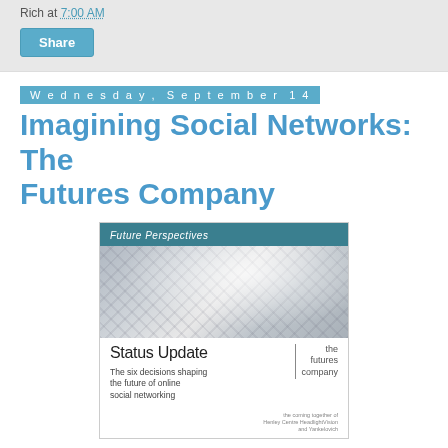Rich at 7:00 AM
Share
Wednesday, September 14
Imagining Social Networks: The Futures Company
[Figure (illustration): Book cover for 'Status Update' by The Futures Company. Header reads 'Future Perspectives'. Features blurred crowd photos top and bottom. Center white area shows title 'Status Update', logo 'the futures company', and subtitle 'The six decisions shaping the future of online social networking'.]